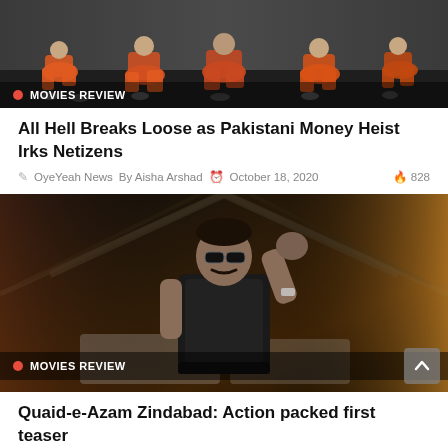[Figure (photo): People in orange jumpsuits sitting on the floor, Money Heist themed, with MOVIES REVIEW badge overlay]
All Hell Breaks Loose as Pakistani Money Heist Irks Netizens
OyeYeah News  By Aisha Arshad  October 18, 2020  828
[Figure (photo): Man in tactical vest with sunglasses raising fist in industrial warehouse setting, Quaid-e-Azam Zindabad movie teaser, with MOVIES REVIEW badge overlay]
Quaid-e-Azam Zindabad: Action packed first teaser